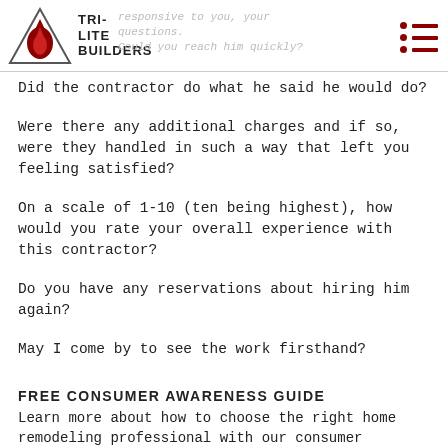TRI-LITE BUILDERS | responsive to you, your questions. Could you reach him quickly?
Did the contractor do what he said he would do?
Were there any additional charges and if so, were they handled in such a way that left you feeling satisfied?
On a scale of 1-10 (ten being highest), how would you rate your overall experience with this contractor?
Do you have any reservations about hiring him again?
May I come by to see the work firsthand?
FREE CONSUMER AWARENESS GUIDE
Learn more about how to choose the right home remodeling professional with our consumer awareness guide. Our guide, "10 Things You Must Know Before Hiring